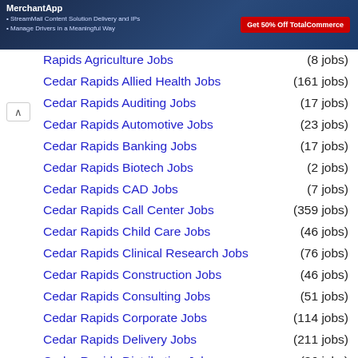[Figure (screenshot): Banner advertisement for MerchantApp with dark blue background, logo top-left, bullet points about features, and a red 'Get 50% Off TotalCommerce' button on the right.]
Rapids Agriculture Jobs (8 jobs)
Cedar Rapids Allied Health Jobs (161 jobs)
Cedar Rapids Auditing Jobs (17 jobs)
Cedar Rapids Automotive Jobs (23 jobs)
Cedar Rapids Banking Jobs (17 jobs)
Cedar Rapids Biotech Jobs (2 jobs)
Cedar Rapids CAD Jobs (7 jobs)
Cedar Rapids Call Center Jobs (359 jobs)
Cedar Rapids Child Care Jobs (46 jobs)
Cedar Rapids Clinical Research Jobs (76 jobs)
Cedar Rapids Construction Jobs (46 jobs)
Cedar Rapids Consulting Jobs (51 jobs)
Cedar Rapids Corporate Jobs (114 jobs)
Cedar Rapids Delivery Jobs (211 jobs)
Cedar Rapids Distribution Jobs (86 jobs)
Cedar Rapids Education Jobs (500 jobs)
Cedar Rapids Engineering Jobs (98 jobs)
Cedar Rapids Entertainment Jobs (29 jobs)